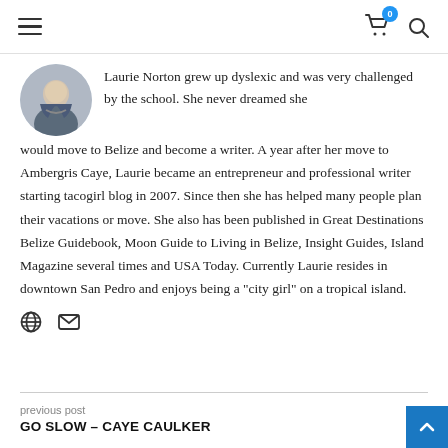Navigation header with hamburger menu, cart icon (badge: 0), and search icon
[Figure (photo): Circular avatar photo of Laurie Norton]
Laurie Norton grew up dyslexic and was very challenged by the school. She never dreamed she would move to Belize and become a writer. A year after her move to Ambergris Caye, Laurie became an entrepreneur and professional writer starting tacogirl blog in 2007. Since then she has helped many people plan their vacations or move. She also has been published in Great Destinations Belize Guidebook, Moon Guide to Living in Belize, Insight Guides, Island Magazine several times and USA Today. Currently Laurie resides in downtown San Pedro and enjoys being a "city girl" on a tropical island.
[Figure (infographic): Social icons: globe icon and envelope icon]
previous post
GO SLOW – CAYE CAULKER